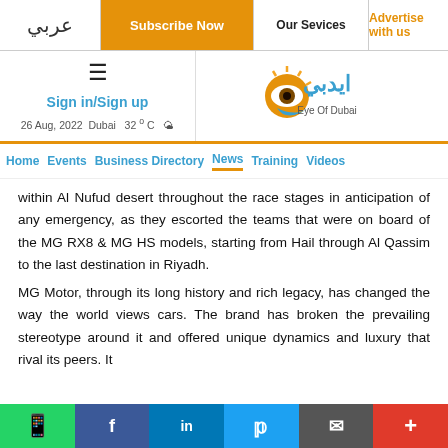عربي | Subscribe Now | Our Services | Advertise with us
[Figure (logo): Eye of Dubai logo with hamburger menu, Sign in/Sign up link, and date 26 Aug, 2022 Dubai 32°C]
Home  Events  Business Directory  News  Training  Videos
within Al Nufud desert throughout the race stages in anticipation of any emergency, as they escorted the teams that were on board of the MG RX8 & MG HS models, starting from Hail through Al Qassim to the last destination in Riyadh.
MG Motor, through its long history and rich legacy, has changed the way the world views cars. The brand has broken the prevailing stereotype around it and offered unique dynamics and luxury that rival its peers. It
Social share bar: WhatsApp, Facebook, LinkedIn, Twitter, Email, More